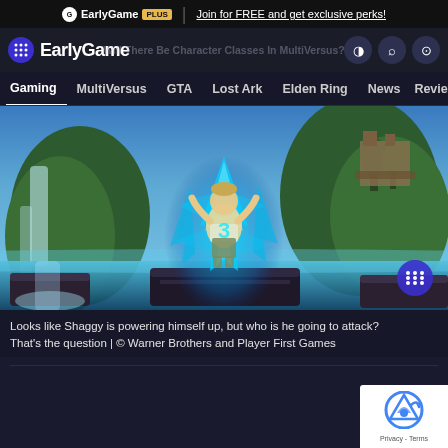EarlyGame PLUS | Join for FREE and get exclusive perks!
EarlyGame
Will There Be Character Classes In MultiVersus?
Gaming | MultiVersus | GTA | Lost Ark | Elden Ring | News | Reviews
[Figure (screenshot): Screenshot from MultiVersus game showing a character (Shaggy) surrounded by blue energy/ice effects on a platform stage with waterfalls and tropical scenery in the background]
Looks like Shaggy is powering himself up, but who is he going to attack? That's the question | © Warner Brothers and Player First Games